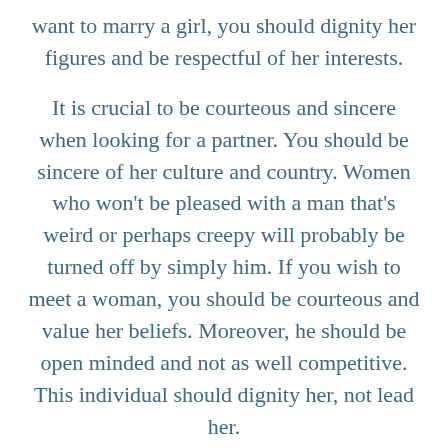want to marry a girl, you should dignity her figures and be respectful of her interests.
It is crucial to be courteous and sincere when looking for a partner. You should be sincere of her culture and country. Women who won't be pleased with a man that's weird or perhaps creepy will probably be turned off by simply him. If you wish to meet a woman, you should be courteous and value her beliefs. Moreover, he should be open minded and not as well competitive. This individual should dignity her, not lead her.
The moment meeting women, it is essential for guys to be well mannered. It is not important to be creepy. Women of all ages love a male who values their valuations. Additionally it is important to be operational to oneself, but to understand and for each one separately with...